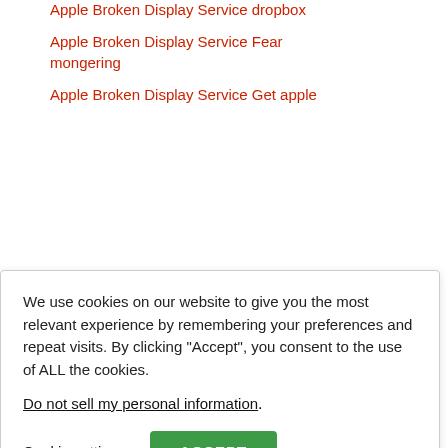Apple Broken Display Service dropbox
Apple Broken Display Service Fear mongering
Apple Broken Display Service Get apple
We use cookies on our website to give you the most relevant experience by remembering your preferences and repeat visits. By clicking “Accept”, you consent to the use of ALL the cookies.
Do not sell my personal information.
Cookie settings  ACCEPT
Apple Broken Display Service Mac users do this update NOW!
Apple Broken Display Service pixel
Apple Broken Display Service plastic